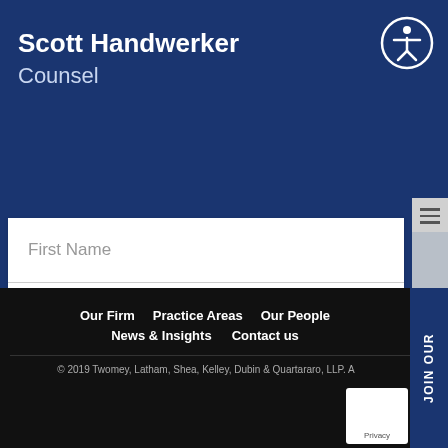Scott Handwerker
Counsel
[Figure (illustration): Accessibility icon: person inside a circle, outline style, white on dark blue background]
First Name
Last Name
Email
SUBSCRIBE
Our Firm  Practice Areas  Our People  News & Insights  Contact us  © 2019 Twomey, Latham, Shea, Kelley, Dubin & Quartararo, LLP. All Rights Reserved.